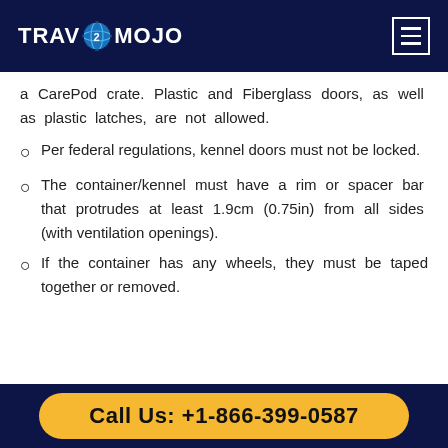TRAVMOJO
a CarePod crate. Plastic and Fiberglass doors, as well as plastic latches, are not allowed.
Per federal regulations, kennel doors must not be locked.
The container/kennel must have a rim or spacer bar that protrudes at least 1.9cm (0.75in) from all sides (with ventilation openings).
If the container has any wheels, they must be taped together or removed.
Call Us: +1-866-399-0587